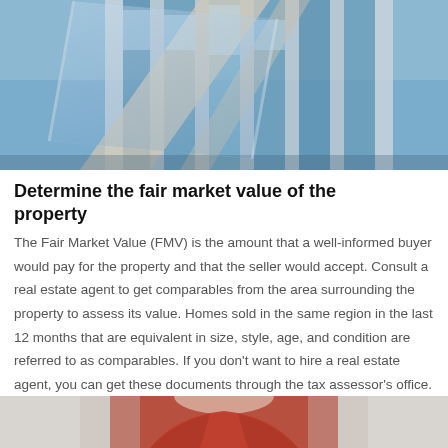[Figure (photo): Upward-angle photograph of a modern glass and steel office building exterior with blue sky reflections]
Determine the fair market value of the property
The Fair Market Value (FMV) is the amount that a well-informed buyer would pay for the property and that the seller would accept. Consult a real estate agent to get comparables from the area surrounding the property to assess its value. Homes sold in the same region in the last 12 months that are equivalent in size, style, age, and condition are referred to as comparables. If you don't want to hire a real estate agent, you can get these documents through the tax assessor's office.
[Figure (photo): Partial view of a person wearing a red jacket, cropped at the top of the frame]